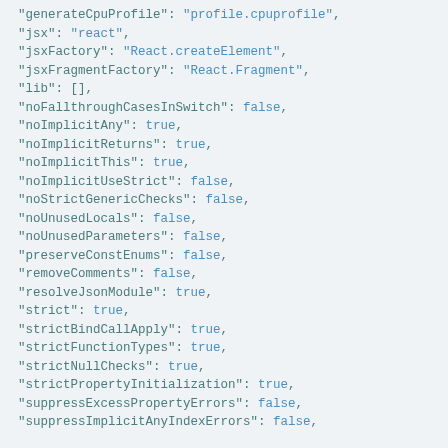"generateCpuProfile": "profile.cpuprofile",
"jsx": "react",
"jsxFactory": "React.createElement",
"jsxFragmentFactory": "React.Fragment",
"lib": [],
"noFallthroughCasesInSwitch": false,
"noImplicitAny": true,
"noImplicitReturns": true,
"noImplicitThis": true,
"noImplicitUseStrict": false,
"noStrictGenericChecks": false,
"noUnusedLocals": false,
"noUnusedParameters": false,
"preserveConstEnums": false,
"removeComments": false,
"resolveJsonModule": true,
"strict": true,
"strictBindCallApply": true,
"strictFunctionTypes": true,
"strictNullChecks": true,
"strictPropertyInitialization": true,
"suppressExcessPropertyErrors": false,
"suppressImplicitAnyIndexErrors": false,